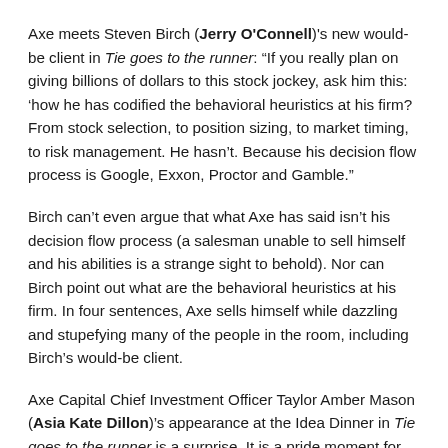Axe meets Steven Birch (Jerry O'Connell)'s new would-be client in Tie goes to the runner: “If you really plan on giving billions of dollars to this stock jockey, ask him this: ‘how he has codified the behavioral heuristics at his firm? From stock selection, to position sizing, to market timing, to risk management. He hasn’t. Because his decision flow process is Google, Exxon, Proctor and Gamble.”
Birch can’t even argue that what Axe has said isn’t his decision flow process (a salesman unable to sell himself and his abilities is a strange sight to behold). Nor can Birch point out what are the behavioral heuristics at his firm. In four sentences, Axe sells himself while dazzling and stupefying many of the people in the room, including Birch’s would-be client.
Axe Capital Chief Investment Officer Taylor Amber Mason (Asia Kate Dillon)’s appearance at the Idea Dinner in Tie goes to the runner is a surprise. It is a pride moment for Bobby Axelrod, Bobby subduing his pride for the good of his company, but it is also a strategic show of trust, both in Taylor’s ability and in the veracity of their ideas that Taylor conveys. But to see Bobby Axelrod send along...